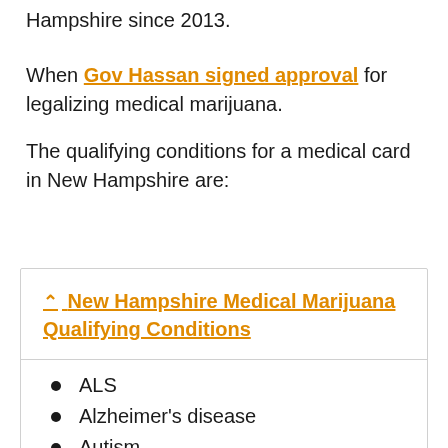Hampshire since 2013.
When Gov Hassan signed approval for legalizing medical marijuana.
The qualifying conditions for a medical card in New Hampshire are:
^ New Hampshire Medical Marijuana Qualifying Conditions
ALS
Alzheimer's disease
Autism
Cachexia